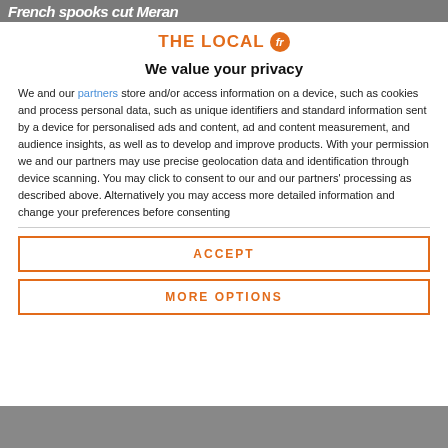French spooks cut Meran
[Figure (logo): The Local fr logo — orange text with orange circle containing fr]
We value your privacy
We and our partners store and/or access information on a device, such as cookies and process personal data, such as unique identifiers and standard information sent by a device for personalised ads and content, ad and content measurement, and audience insights, as well as to develop and improve products. With your permission we and our partners may use precise geolocation data and identification through device scanning. You may click to consent to our and our partners' processing as described above. Alternatively you may access more detailed information and change your preferences before consenting
ACCEPT
MORE OPTIONS